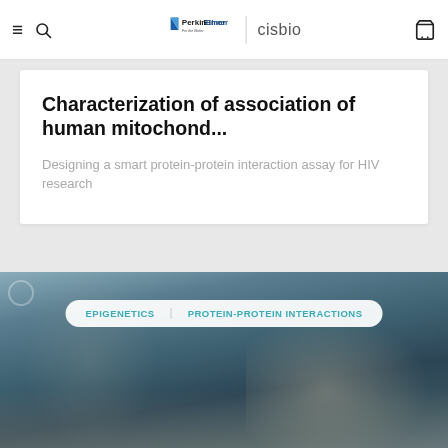PerkinElmer | cisbio
Characterization of association of human mitochond...
Designing a smart protein-protein interaction assay for HIV research
[Figure (photo): Scientist writing at a desk in a lab, close-up of hand holding a pen. Overlaid tag pills reading EPIGENETICS and PROTEIN-PROTEIN INTERACTIONS on a white rounded rectangle.]